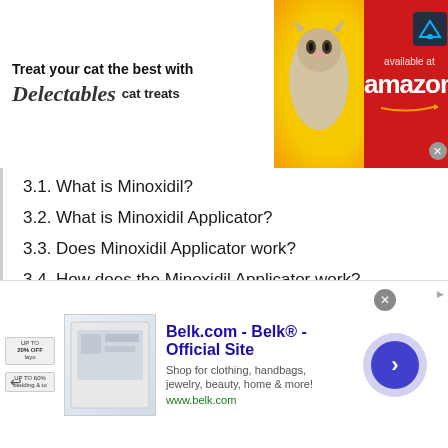[Figure (screenshot): Top advertisement banner: 'Treat your cat the best with Delectables cat treats' with cat image and Amazon branding on red background]
3.1. What is Minoxidil?
3.2. What is Minoxidil Applicator?
3.3. Does Minoxidil Applicator work?
3.4. How does the Minoxidil Applicator work?
3.5. How to use Minoxidil Applicator?
3.6. What are the benefits of the Minoxidil applicator?
3.7. Where can I buy Minoxidil Applicator?
3.8. Who should not use Minoxidil
[Figure (screenshot): Bottom advertisement banner: Belk.com - Belk® - Official Site, with product image, description 'Shop for clothing, handbags, jewelry, beauty, home & more!' and navigation button]